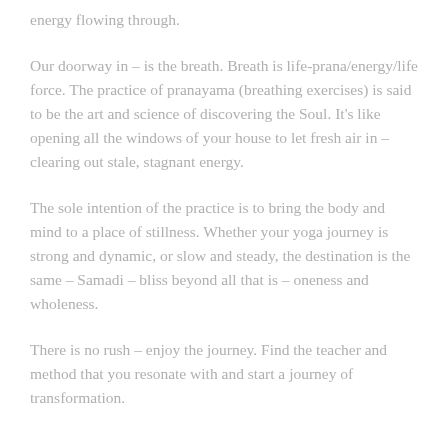energy flowing through.
Our doorway in – is the breath. Breath is life-prana/energy/life force. The practice of pranayama (breathing exercises) is said to be the art and science of discovering the Soul. It's like opening all the windows of your house to let fresh air in – clearing out stale, stagnant energy.
The sole intention of the practice is to bring the body and mind to a place of stillness. Whether your yoga journey is strong and dynamic, or slow and steady, the destination is the same – Samadi – bliss beyond all that is – oneness and wholeness.
There is no rush – enjoy the journey. Find the teacher and method that you resonate with and start a journey of transformation.